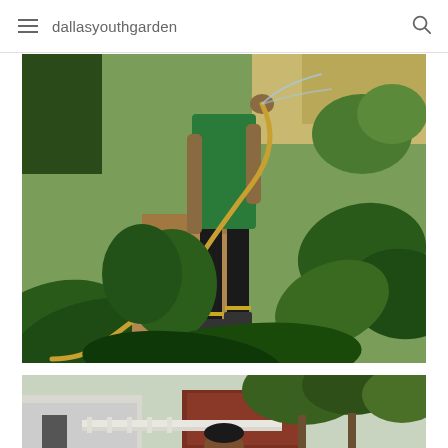dallasyouthgarden
[Figure (photo): A young person watering garden plants with a hose, surrounded by large leafy green plants and dry soil in a garden setting]
[Figure (photo): A garden scene showing buildings, trees, and a person in a fenced outdoor area]